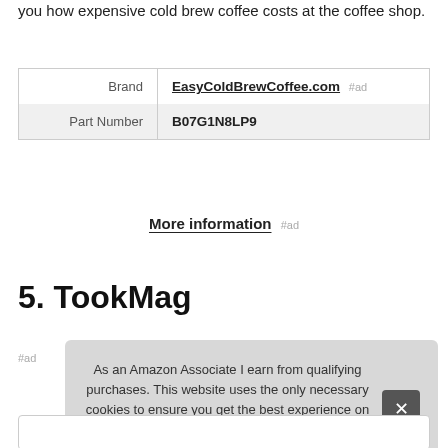you how expensive cold brew coffee costs at the coffee shop.
| Brand | EasyColdBrewCoffee.com #ad |
| Part Number | B07G1N8LP9 |
More information #ad
5. TookMag
#ad
As an Amazon Associate I earn from qualifying purchases. This website uses the only necessary cookies to ensure you get the best experience on our website. More information